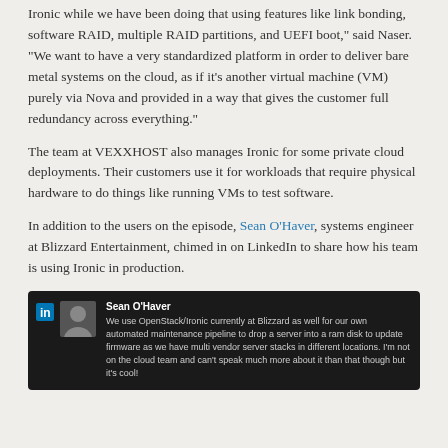Ironic while we have been doing that using features like link bonding, software RAID, multiple RAID partitions, and UEFI boot," said Naser. "We want to have a very standardized platform in order to deliver bare metal systems on the cloud, as if it's another virtual machine (VM) purely via Nova and provided in a way that gives the customer full redundancy across everything."
The team at VEXXHOST also manages Ironic for some private cloud deployments. Their customers use it for workloads that require physical hardware to do things like running VMs to test software.
In addition to the users on the episode, Sean O'Haver, systems engineer at Blizzard Entertainment, chimed in on LinkedIn to share how his team is using Ironic in production.
[Figure (screenshot): LinkedIn post by Sean O'Haver: 'We use OpenStack/Ironic currently at Blizzard as well for our own automated maintenance pipeline to drop a server into a ram disk to update firmware as we have multi vendor server stacks in different locations. I'm not on the cloud team and can't speak much more about it than that though but it's cool!']